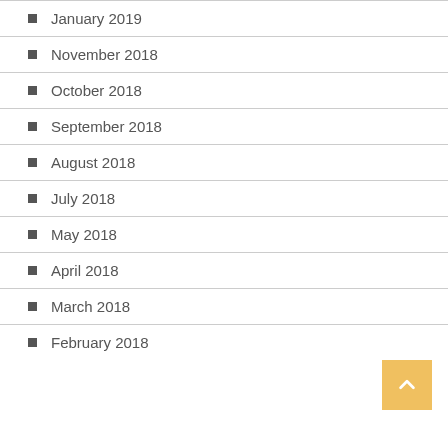January 2019
November 2018
October 2018
September 2018
August 2018
July 2018
May 2018
April 2018
March 2018
February 2018